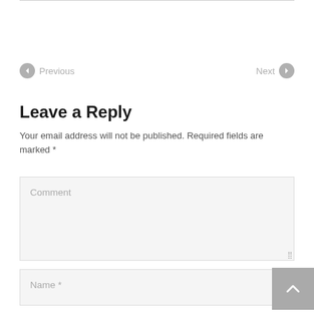Previous   Next
Leave a Reply
Your email address will not be published. Required fields are marked *
Comment
Name *
Email *